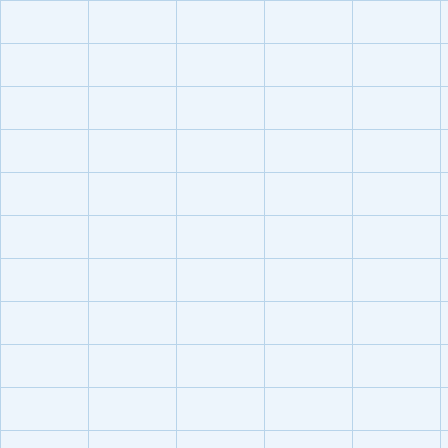09.DE.10 Ferroaluminotschermakite Ca2Fe...
09.DE.10 Potassic-magnesiosadanagaite (K,N...
2/m Mono
09.DE.10 Fluoro-edenite! NaCa2Mg5Si7AlO2...
09.DE.10 Hastingsite NaCa2(Fe4Fe)Si6Al2O2...
09.DE.10 Ferrotschermakite! []Ca2(Fe3AlFe)S...
09.DE.10 Ferroferritschermakite* Ca2(Fe,Mg)...
09.DE.10 Ferropargasite NaCa2(Fe4Al)Si6Al2...
09.DE.10 Joesmithite PbCa2(Mg,Fe,Fe)5Si6B...
09.DE.10 Kaersutite NaCa2(Mg4Ti)Si6Al2O23...
09.DE.10 Magnesiohastingsite NaCa2(Mg4Fe...
09.DE.10 Magnesiohornblende Ca2[Mg4(Al,F...
09.DE.10 Pargasite NaCa2(Mg,Fe)4Al(Si6Al2...
09.DE.10 Potassicsadanagaite! (K,Na)Ca2[Fe...
09.DE.10 Potassicpargasite! (K,Na)Ca2(Mg,F...
09.DE.10 Sadanagaite (K,Na)Ca2(Fe,Mg,Al,T...
09.DE.10 Tschermakite []Ca2(Mg3AlFe)Si6Al2...
09.DE.10 Tremolite []Ca2Mg5Si8O22(OH)2 C...
09.DE.10 Fluoro-magnesiohastingsite! (Na,K)...
09.DE.10 Parvo-manganotremolite! [](CaMn)2...
09.DE.10 Fluoropargasite! NaCa2(Mg3FeAl)5...
09.DE.10 Parvo-mangano-edenite! Na(CaMn)...
09.DE.10 Magnesiosadanagaite! NaCa2[Mg3...
09.DE.10 Fluoro-potassichastingsite! KCa2(Fe...
09.DE.10 Chloro-potassichastingsite! KCa2(F...
09.DE.10 Potassic-magnesiohastingsite! (K,N...